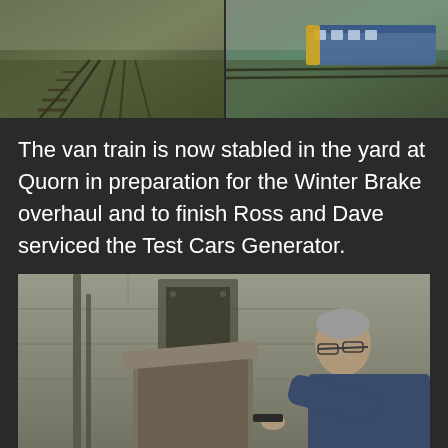[Figure (photo): Two photos side by side at top: left shows railway tracks in a yard, right shows a blue diesel train on tracks]
The van train is now stabled in the yard at Quorn in preparation for the Winter Brake overhaul and to finish Ross and Dave serviced the Test Cars Generator.
[Figure (photo): Photo of two people servicing a generator in what appears to be a railway workshop or shed — a man in blue jacket working on machinery with another person visible below]